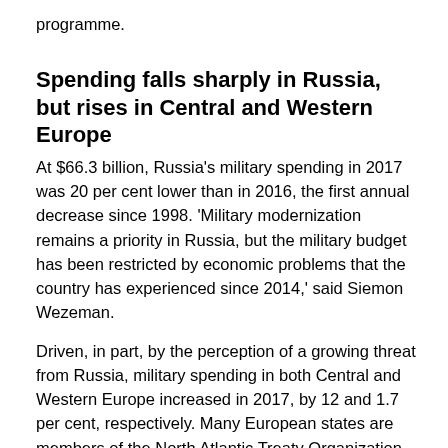programme.
Spending falls sharply in Russia, but rises in Central and Western Europe
At $66.3 billion, Russia’s military spending in 2017 was 20 per cent lower than in 2016, the first annual decrease since 1998. ‘Military modernization remains a priority in Russia, but the military budget has been restricted by economic problems that the country has experienced since 2014,’ said Siemon Wezeman.
Driven, in part, by the perception of a growing threat from Russia, military spending in both Central and Western Europe increased in 2017, by 12 and 1.7 per cent, respectively. Many European states are members of the North Atlantic Treaty Organization (NATO) and, within that framework, have agreed to increase their military spending. Total military spending by all 29 NATO members was $900 billion in 2017, accounting for 52